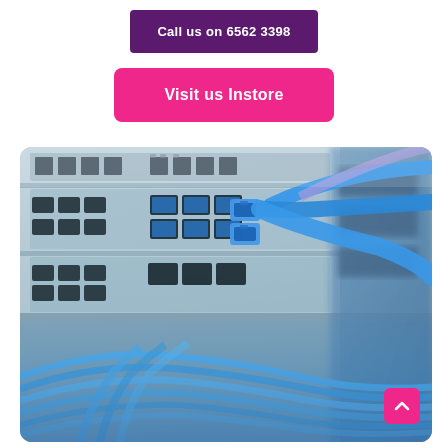Call us on 6562 3398
Visit us Instore
[Figure (photo): Close-up photo of blue ethernet/network cables plugged into a network switch or server rack panel, with blurred background of more networking equipment.]